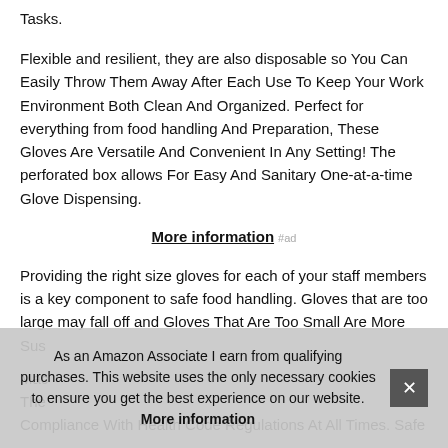Tasks.
Flexible and resilient, they are also disposable so You Can Easily Throw Them Away After Each Use To Keep Your Work Environment Both Clean And Organized. Perfect for everything from food handling And Preparation, These Gloves Are Versatile And Convenient In Any Setting! The perforated box allows For Easy And Sanitary One-at-a-time Glove Dispensing.
More information #ad
Providing the right size gloves for each of your staff members is a key component to safe food handling. Gloves that are too large may fall off and Gloves That Are Too Small Are More Sus
Mac
The
Compliance With Health Code Regulations At All Times. Safe
As an Amazon Associate I earn from qualifying purchases. This website uses the only necessary cookies to ensure you get the best experience on our website. More information